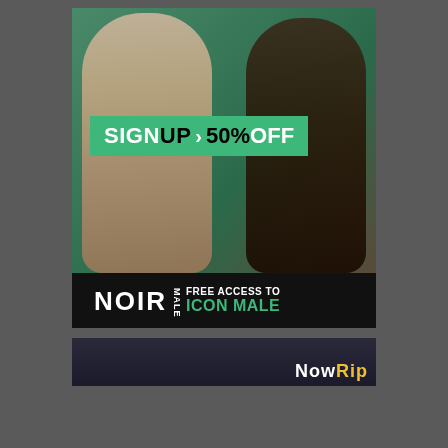[Figure (photo): Advertisement banner showing two male models wearing underwear/jockstraps. A green banner reads SIGNUP > 50% OFF overlaid on the photo. Below the photo is a black footer with NOIR MALE logo on the left and FREE ACCESS TO ICON MALE text on the right in green.]
[Figure (photo): Partial view of a second advertisement at bottom, dark background with NowRip text visible in white and yellow.]